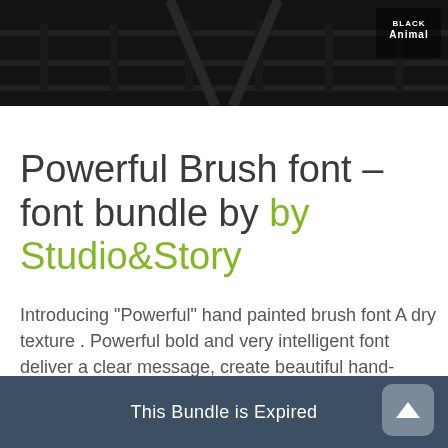[Figure (photo): Dark textured background image showing what appears to be dark metallic or wooden rails/tracks with a 'Black Animal' logo in the upper right corner]
Powerful Brush font – font bundle by by Studio&Story
Introducing "Powerful" hand painted brush font A dry texture . Powerful bold and very intelligent font deliver a clear message, create beautiful hand-made typography.ideal for logo, merchandise, apparel, fashion, social media,
This Bundle is Expired